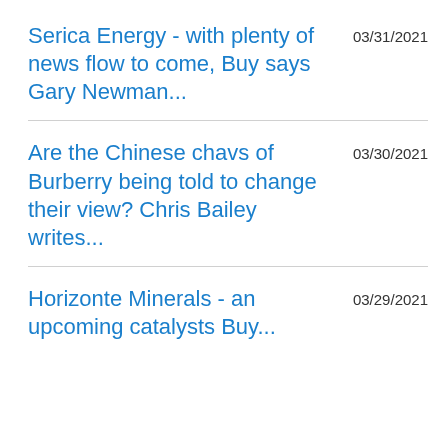Serica Energy - with plenty of news flow to come, Buy says Gary Newman...
Are the Chinese chavs of Burberry being told to change their view? Chris Bailey writes...
Horizonte Minerals - an upcoming catalysts Buy...